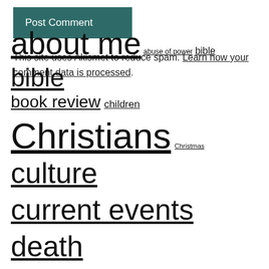Post Comment
This site uses Akismet to reduce spam. Learn how your comment data is processed.
about me  abuse of power  bible  bible  book review  children  Christians  Christmas  culture  current events  death